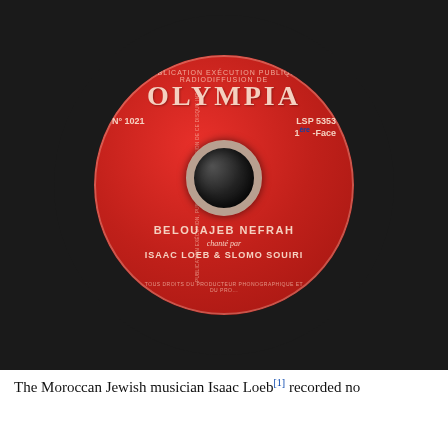[Figure (photo): Photograph of a red vinyl record label for the Olympia record label. The label reads: OLYMPIA, N° 1021, LSP 5353, 1ère -Face, BELOUAJEB NEFRAH, chanté par, ISAAC LOEB & SLOMO SOUIRI. The record is shown on a dark background.]
The Moroccan Jewish musician Isaac Loeb[1] recorded no